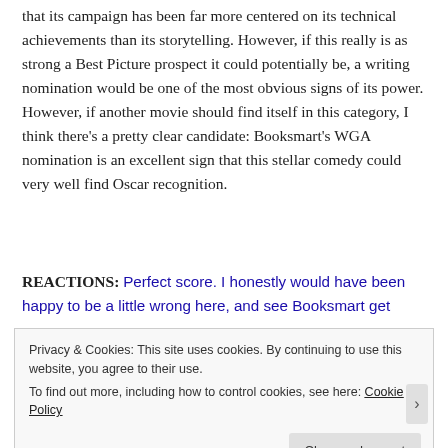that its campaign has been far more centered on its technical achievements than its storytelling. However, if this really is as strong a Best Picture prospect it could potentially be, a writing nomination would be one of the most obvious signs of its power. However, if another movie should find itself in this category, I think there's a pretty clear candidate: Booksmart's WGA nomination is an excellent sign that this stellar comedy could very well find Oscar recognition.
REACTIONS: Perfect score. I honestly would have been happy to be a little wrong here, and see Booksmart get
Privacy & Cookies: This site uses cookies. By continuing to use this website, you agree to their use.
To find out more, including how to control cookies, see here: Cookie Policy